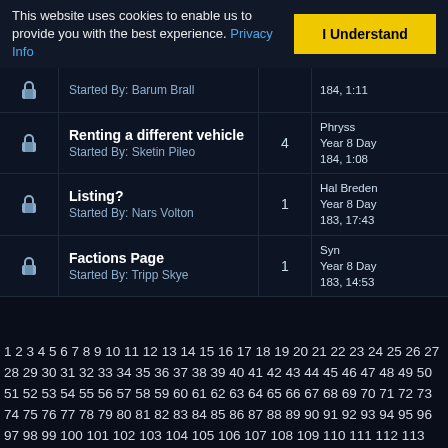This website uses cookies to enable us to provide you with the best experience. Privacy Info
I Understand
|  | Topic | Replies | Last Post |
| --- | --- | --- | --- |
| [lock] | Started By: Barum Brall |  | 184, 1:11 |
| [lock] | Renting a different vehicle
Started By: Sketin Pileo | 4 | Phryss
Year 8 Day 184, 1:08 |
| [lock] | Listing?
Started By: Nars Volton | 1 | Hal Breden
Year 8 Day 183, 17:43 |
| [lock] | Factions Page
Started By: Tripp Skye | 1 | Syn
Year 8 Day 183, 14:53 |
1 2 3 4 5 6 7 8 9 10 11 12 13 14 15 16 17 18 19 20 21 22 23 24 25 26 27 28 29 30 31 32 33 34 35 36 37 38 39 40 41 42 43 44 45 46 47 48 49 50 51 52 53 54 55 56 57 58 59 60 61 62 63 64 65 66 67 68 69 70 71 72 73 74 75 76 77 78 79 80 81 82 83 84 85 86 87 88 89 90 91 92 93 94 95 96 97 98 99 100 101 102 103 104 105 106 107 108 109 110 111 112 113 114 115 116 117 118 119 120 121 122 123 124 125 126 127 128 129 130 131 132 133 134 135 136 137 138 139 140 141 142 143 144 145 146 147 148 149 150 151 152 153 154 155 156 157 158 159 160 161 162 163 164 165 166 167 168 169 170 171 172 173 174 175 176 177 178 179 180 181 182 183 184 185 186 187 188 189 190 191 192 193 194 195 196 197 198 199 200 201 202 203 204 205 206 207 208 209 210 211 212 213 214 215 216 217 218 219 220 221 222 223 224 225 226 227 228 229 230 231 232 233 234 235 236 237 238 239 240 241 242 243 244 245 246 247 248 249 250 251 252 253 254 255 256 257 258 259 260 261 262 263 264 265 266 267 268 269 270 271 272 273 274 275 276 277...